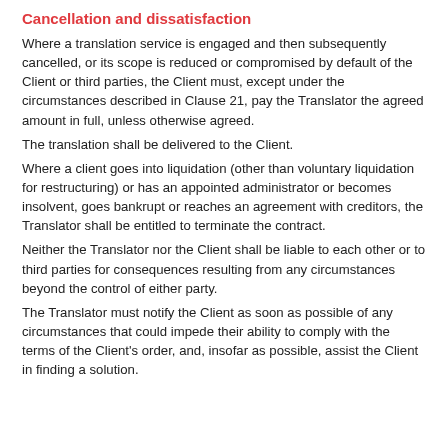Cancellation and dissatisfaction
Where a translation service is engaged and then subsequently cancelled, or its scope is reduced or compromised by default of the Client or third parties, the Client must, except under the circumstances described in Clause 21, pay the Translator the agreed amount in full, unless otherwise agreed.
The translation shall be delivered to the Client.
Where a client goes into liquidation (other than voluntary liquidation for restructuring) or has an appointed administrator or becomes insolvent, goes bankrupt or reaches an agreement with creditors, the Translator shall be entitled to terminate the contract.
Neither the Translator nor the Client shall be liable to each other or to third parties for consequences resulting from any circumstances beyond the control of either party.
The Translator must notify the Client as soon as possible of any circumstances that could impede their ability to comply with the terms of the Client's order, and, insofar as possible, assist the Client in finding a solution.